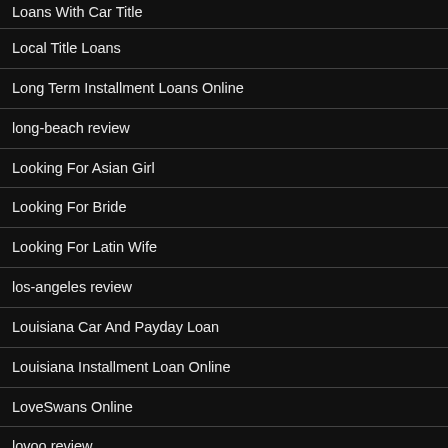Loans With Car Title
Local Title Loans
Long Term Installment Loans Online
long-beach review
Looking For Asian Girl
Looking For Bride
Looking For Latin Wife
los-angeles review
Louisiana Car And Payday Loan
Louisiana Installment Loan Online
LoveSwans Online
lovoo review
Low Interest Loans For Bad Credit